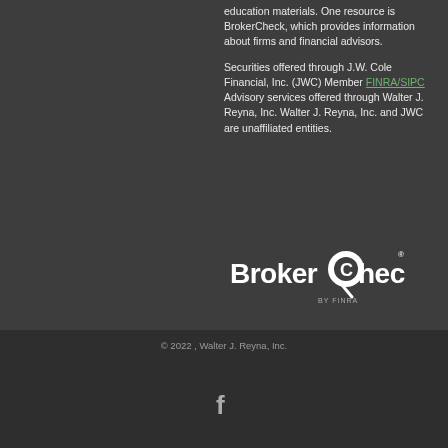education materials. One resource is BrokerCheck, which provides information about firms and financial advisors.

Securities offered through J.W. Cole Financial, Inc. (JWC) Member FINRA/SIPC Advisory services offered through Walter J. Reyna, Inc. Walter J. Reyna, Inc. and JWC are unaffiliated entities.
[Figure (logo): BrokerCheck by FINRA logo — white text on dark background with circular magnifying glass icon]
© 2022 , Walter J. Reyna, Inc.
[Figure (illustration): Facebook icon (letter f) in white on dark background]